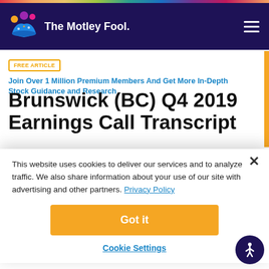The Motley Fool
FREE ARTICLE  Join Over 1 Million Premium Members And Get More In-Depth Stock Guidance and Research
Brunswick (BC) Q4 2019 Earnings Call Transcript
By Motley Fool Transcribing – Jan 31, 2020 at 7:01 AM
This website uses cookies to deliver our services and to analyze traffic. We also share information about your use of our site with advertising and other partners. Privacy Policy
Got it
Cookie Settings